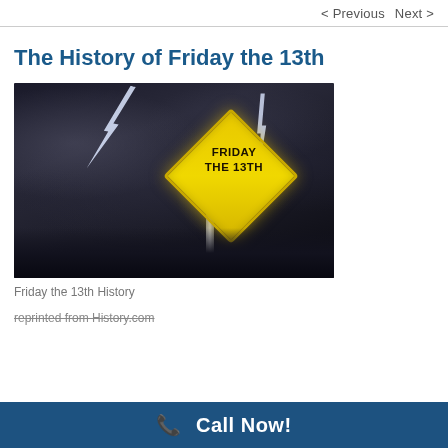< Previous   Next >
The History of Friday the 13th
[Figure (photo): A dramatic stormy sky with lightning bolts and a yellow diamond-shaped road sign reading FRIDAY THE 13TH on a metal pole]
Friday the 13th History
reprinted from History.com
Call Now!